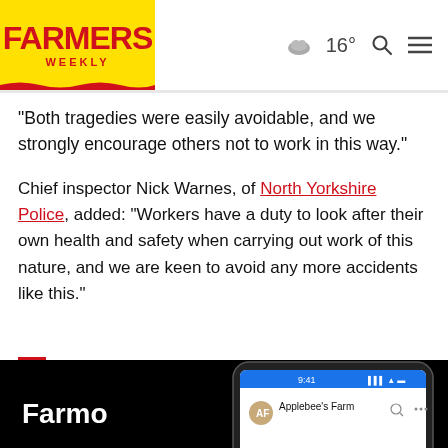Farmers Weekly — 16° [weather] [search] [menu]
“Both tragedies were easily avoidable, and we strongly encourage others not to work in this way.”
Chief inspector Nick Warnes, of North Yorkshire Police, added: “Workers have a duty to look after their own health and safety when carrying out work of this nature, and we are keen to avoid any more accidents like this.”
[Figure (screenshot): Farmo app advertisement showing a phone screen with 'Applebee's Farm' app interface on a black background]
Next: What to look for when buying a used telehandler